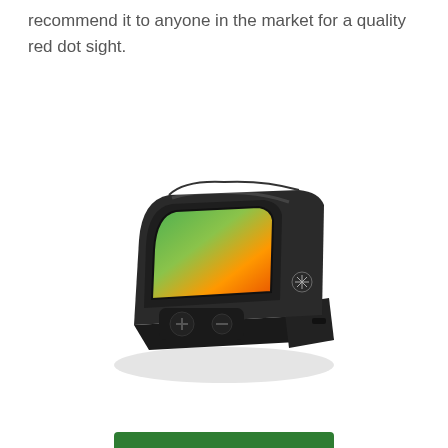recommend it to anyone in the market for a quality red dot sight.
[Figure (photo): A compact black red dot sight (mini reflex sight) with a colorful lens showing green-to-orange gradient coating, adjustment buttons on the side, photographed at an angle on a white background.]